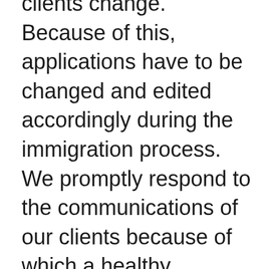clients change. Because of this, applications have to be changed and edited accordingly during the immigration process. We promptly respond to the communications of our clients because of which a healthy relationship develops which in turn leads to positive feedback from our clients. Our Brampton immigration lawyers have adequate staff and facilities to assist you in a way that we do not feel the caseload. No matter